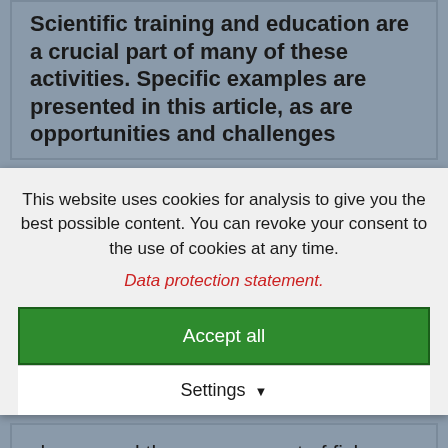Scientific training and education are a crucial part of many of these activities. Specific examples are presented in this article, as are opportunities and challenges
This website uses cookies for analysis to give you the best possible content. You can revoke your consent to the use of cookies at any time.
Data protection statement.
Accept all
Settings
change and the management of fish stocks requires internationally coordinated efforts, and bound by the terms of international trade and exchange, ecological-economic policies can only be successful if conducted